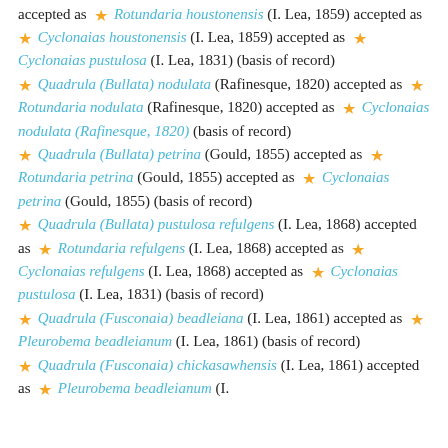accepted as ★ Rotundaria houstonensis (I. Lea, 1859) accepted as ★ Cyclonaias houstonensis (I. Lea, 1859) accepted as ★ Cyclonaias pustulosa (I. Lea, 1831) (basis of record)
★ Quadrula (Bullata) nodulata (Rafinesque, 1820) accepted as ★ Rotundaria nodulata (Rafinesque, 1820) accepted as ★ Cyclonaias nodulata (Rafinesque, 1820) (basis of record)
★ Quadrula (Bullata) petrina (Gould, 1855) accepted as ★ Rotundaria petrina (Gould, 1855) accepted as ★ Cyclonaias petrina (Gould, 1855) (basis of record)
★ Quadrula (Bullata) pustulosa refulgens (I. Lea, 1868) accepted as ★ Rotundaria refulgens (I. Lea, 1868) accepted as ★ Cyclonaias refulgens (I. Lea, 1868) accepted as ★ Cyclonaias pustulosa (I. Lea, 1831) (basis of record)
★ Quadrula (Fusconaia) beadleiana (I. Lea, 1861) accepted as ★ Pleurobema beadleianum (I. Lea, 1861) (basis of record)
★ Quadrula (Fusconaia) chickasawhensis (I. Lea, 1861) accepted as ★ Pleurobema beadleianum (I.